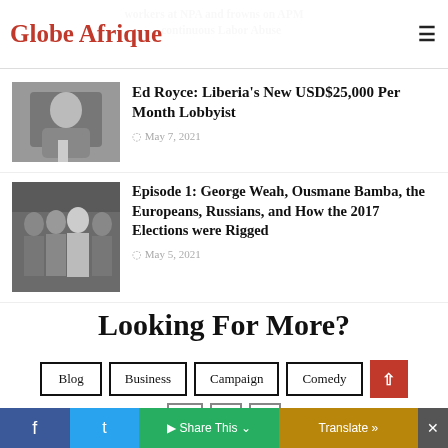Globe Afrique
workers at NPA and frowns on APM ... continuous Labor Abuse
[Figure (photo): Photo of a man speaking at a microphone]
Ed Royce: Liberia's New USD$25,000 Per Month Lobbyist
May 7, 2021
[Figure (photo): Photo of a group of men in suits standing together]
Episode 1: George Weah, Ousmane Bamba, the Europeans, Russians, and How the 2017 Elections were Rigged
May 5, 2021
Looking For More?
Blog
Business
Campaign
Comedy
Share This  Translate »